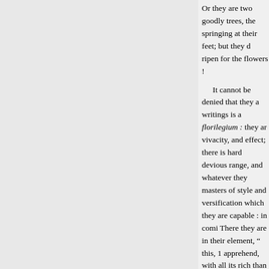Or they are two goodly trees, the springing at their feet; but they d ripen for the flowers !

It cannot be denied that they a writings is a florilegium : they ar vivacity, and effect; there is hard devious range, and whatever they masters of style and versification which they are capable : in comi There they are in their element, “ this, 1 apprehend, with all its rich than it gratifies, and leaves the m ostentatious and indiscriminate d effervescence, and not to have se abundance, do not always appear images, to set off any sentiments expressed ; the characters in gene permanent impression ; the passi but wastes itself in the first ebull

Besides these more critical objec of character with horror in the su

it wantonness) of moral constitut